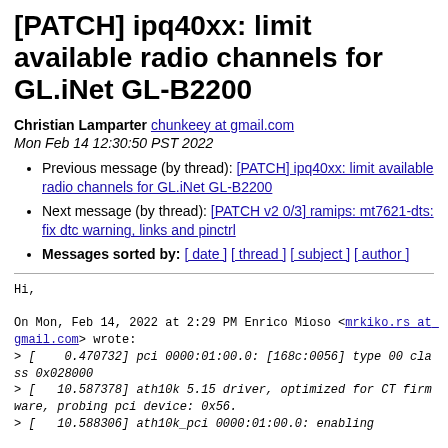[PATCH] ipq40xx: limit available radio channels for GL.iNet GL-B2200
Christian Lamparter chunkeey at gmail.com
Mon Feb 14 12:30:50 PST 2022
Previous message (by thread): [PATCH] ipq40xx: limit available radio channels for GL.iNet GL-B2200
Next message (by thread): [PATCH v2 0/3] ramips: mt7621-dts: fix dtc warning, links and pinctrl
Messages sorted by: [ date ] [ thread ] [ subject ] [ author ]
Hi,

On Mon, Feb 14, 2022 at 2:29 PM Enrico Mioso <mrkiko.rs at gmail.com> wrote:
> [    0.470732] pci 0000:01:00.0: [168c:0056] type 00 class 0x028000
> [   10.587378] ath10k 5.15 driver, optimized for CT firmware, probing pci device: 0x56.
> [   10.588306] ath10k_pci 0000:01:00.0: enabling